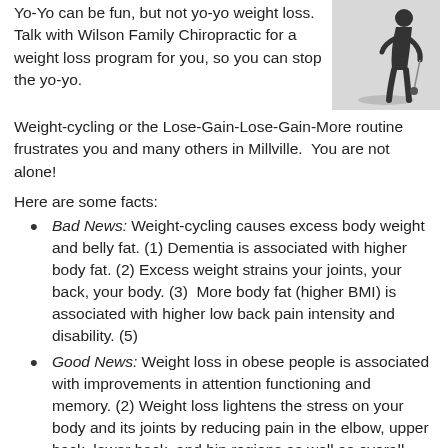Yo-Yo can be fun, but not yo-yo weight loss. Talk with Wilson Family Chiropractic for a weight loss program for you, so you can stop the yo-yo.
[Figure (photo): Silhouette of a person playing with a yo-yo against a light background]
Weight-cycling or the Lose-Gain-Lose-Gain-More routine frustrates you and many others in Millville. You are not alone!
Here are some facts:
Bad News: Weight-cycling causes excess body weight and belly fat. (1) Dementia is associated with higher body fat. (2) Excess weight strains your joints, your back, your body. (3) More body fat (higher BMI) is associated with higher low back pain intensity and disability. (5)
Good News: Weight loss in obese people is associated with improvements in attention functioning and memory. (2) Weight loss lightens the stress on your body and its joints by reducing pain in the elbow, upper back, lower back, and hip regions as well as overall pain. (3) Obese